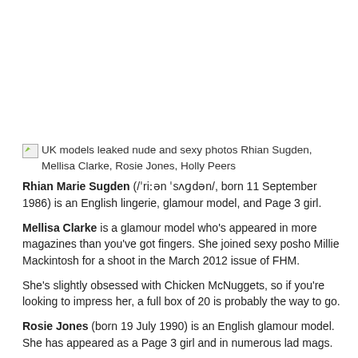UK models leaked nude and sexy photos Rhian Sugden, Mellisa Clarke, Rosie Jones, Holly Peers
Rhian Marie Sugden (/ˈriːən ˈsʌgdən/, born 11 September 1986) is an English lingerie, glamour model, and Page 3 girl.
Mellisa Clarke is a glamour model who's appeared in more magazines than you've got fingers. She joined sexy posho Millie Mackintosh for a shoot in the March 2012 issue of FHM.
She's slightly obsessed with Chicken McNuggets, so if you're looking to impress her, a full box of 20 is probably the way to go.
Rosie Jones (born 19 July 1990) is an English glamour model. She has appeared as a Page 3 girl and in numerous lad mags.